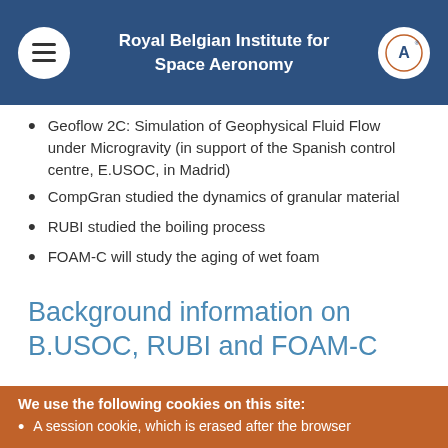Royal Belgian Institute for Space Aeronomy
Geoflow 2C: Simulation of Geophysical Fluid Flow under Microgravity (in support of the Spanish control centre, E.USOC, in Madrid)
CompGran studied the dynamics of granular material
RUBI studied the boiling process
FOAM-C will study the aging of wet foam
Background information on B.USOC, RUBI and FOAM-C
We use the following cookies on this site:
A session cookie, which is erased after the browser